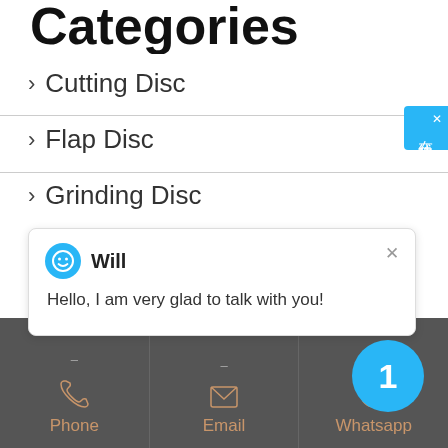Categories
Cutting Disc
Flap Disc
Grinding Disc
[Figure (screenshot): Chat popup from 'Will' saying: Hello, I am very glad to talk with you!]
Extra Thin Cutting Discs
[Figure (screenshot): Chinese sidebar button labeled 在线咨询 (Online Consultation) in cyan/blue]
[Figure (infographic): Cyan circle badge with number 1]
Phone | Email | Whatsapp